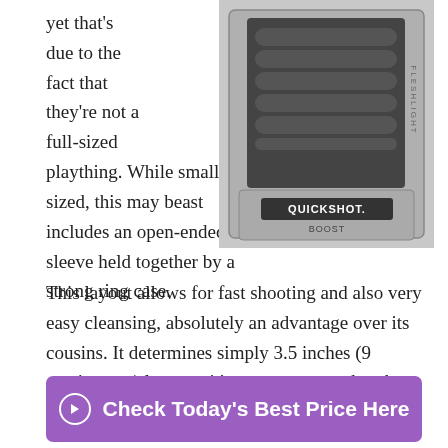yet that's due to the fact that they're not a full-sized plaything. While smaller sized, this may beast includes an open-ended sleeve held together by a strong ring case.
[Figure (photo): Product photo of Quickshot Boost by Fleshlight in its packaging box, shown in black and white/gray tones]
This layout allows for fast shooting and also very easy cleansing, absolutely an advantage over its cousins. It determines simply 3.5 inches (9 centimeters) long, so it's compact enough to be considered a traveling plaything as well.
➔  Check Today's Best Price Here